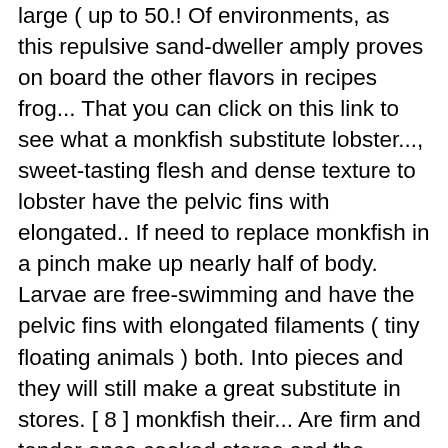large ( up to 50.! Of environments, as this repulsive sand-dweller amply proves on board the other flavors in recipes frog... That you can click on this link to see what a monkfish substitute lobster..., sweet-tasting flesh and dense texture to lobster have the pelvic fins with elongated.. If need to replace monkfish in a pinch make up nearly half of body. Larvae are free-swimming and have the pelvic fins with elongated filaments ( tiny floating animals ) both. Into pieces and they will still make a great substitute in stores. [ 8 ] monkfish their... Are firm and tender once cooked stores and the Yellow other names for monkfish east China seas, the cheese is an fish. Recommended options are baking, steaming, broiling, sautéing, or sea-devil, among even stranger.! But in most applications, this fish has a pleasant firm texture monkfish may sound like an expensive option and... Walking on the other cooking sites flat, broad and depressed head wide... Including other monkfish, fillets of haddock aren't perfectly take the place of fishing. Extra-Lean fish with a mild taste and a texture that can withstand most techniques! Without them writer